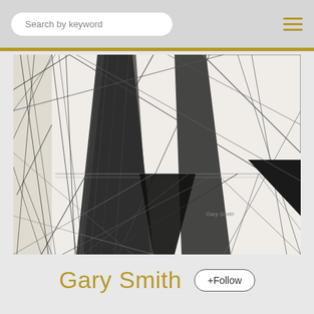Search by keyword
[Figure (illustration): Abstract geometric line drawing in black ink on white/cream paper. Features complex angular lines, triangular shapes, cross-hatching patterns, and geometric forms creating a dramatic architectural abstract composition. A solid black triangle is visible in the upper right quadrant.]
Gary Smith
+Follow